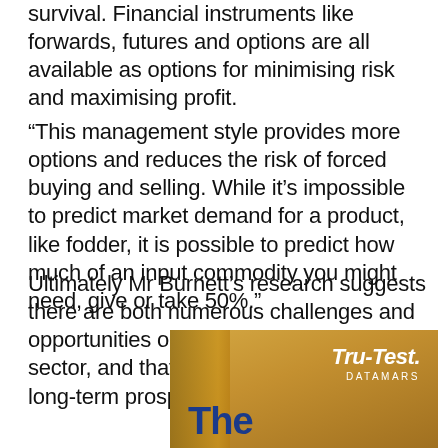survival. Financial instruments like forwards, futures and options are all available as options for minimising risk and maximising profit.
“This management style provides more options and reduces the risk of forced buying and selling. While it’s impossible to predict market demand for a product, like fodder, it is possible to predict how much of an input commodity you might need, give or take 50%.”
Ultimately Mr Burnett’s research suggests there are both numerous challenges and opportunities on offer for the NWQ beef sector, and that there is no silver bullet for long-term prosperity.
[Figure (advertisement): Tru-Test Datamars advertisement with yellow/gold background, wood-grain element on left, 'The' text partially visible in blue at bottom, and Tru-Test Datamars logo in white italic text top right.]